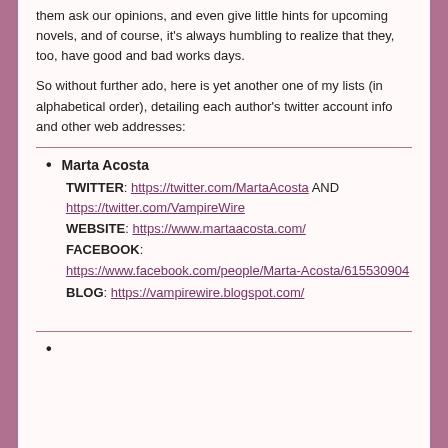them ask our opinions, and even give little hints for upcoming novels, and of course, it's always humbling to realize that they, too, have good and bad works days.
So without further ado, here is yet another one of my lists (in alphabetical order), detailing each author's twitter account info and other web addresses:
Marta Acosta
TWITTER: https://twitter.com/MartaAcosta AND https://twitter.com/VampireWire
WEBSITE: https://www.martaacosta.com/
FACEBOOK: https://www.facebook.com/people/Marta-Acosta/615530904
BLOG: https://vampirewire.blogspot.com/